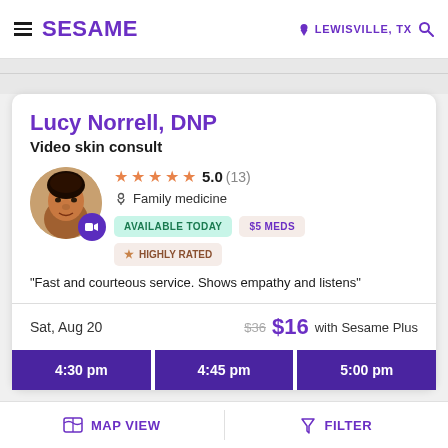SESAME   LEWISVILLE, TX
Lucy Norrell, DNP
Video skin consult
★★★★★ 5.0 (13) Family medicine AVAILABLE TODAY $5 MEDS HIGHLY RATED
"Fast and courteous service. Shows empathy and listens"
Sat, Aug 20   $36  $16 with Sesame Plus
4:30 pm   4:45 pm   5:00 pm
MAP VIEW   FILTER